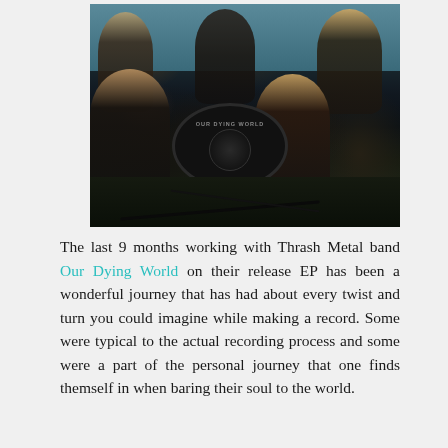[Figure (photo): Band photo of Our Dying World, a Thrash Metal band. Five members posing in what appears to be a rehearsal or recording studio. A bass drum with 'Our Dying World' branding and a skull logo is visible in the center. Members are arranged around the drum kit.]
The last 9 months working with Thrash Metal band Our Dying World on their release EP has been a wonderful journey that has had about every twist and turn you could imagine while making a record. Some were typical to the actual recording process and some were a part of the personal journey that one finds themself in when baring their soul to the world.